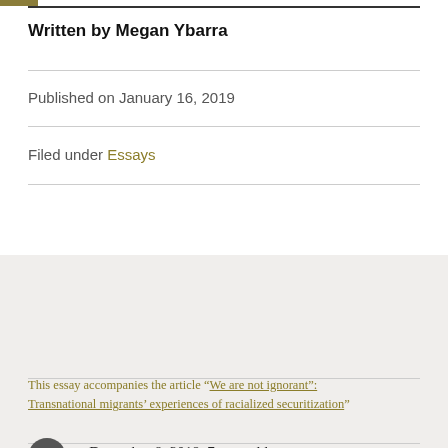Written by Megan Ybarra
Published on January 16, 2019
Filed under Essays
This essay accompanies the article “We are not ignorant”: Transnational migrants’ experiences of racialized securitization”
n December 8, 2018, 7 year-old